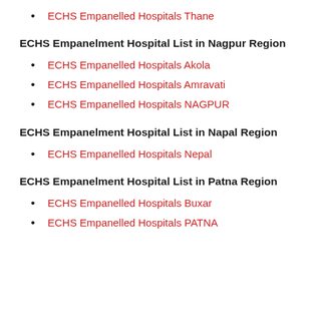ECHS Empanelled Hospitals Thane
ECHS Empanelment Hospital List in Nagpur Region
ECHS Empanelled Hospitals Akola
ECHS Empanelled Hospitals Amravati
ECHS Empanelled Hospitals NAGPUR
ECHS Empanelment Hospital List in Napal Region
ECHS Empanelled Hospitals Nepal
ECHS Empanelment Hospital List in Patna Region
ECHS Empanelled Hospitals Buxar
ECHS Empanelled Hospitals PATNA